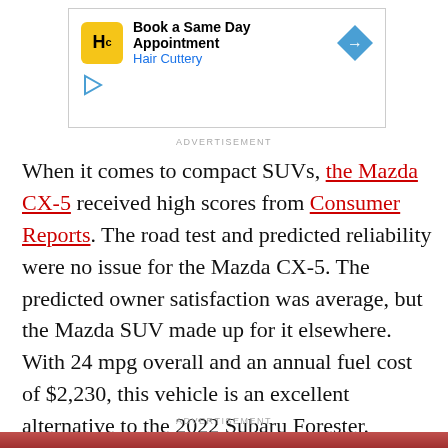[Figure (other): Advertisement banner for Hair Cuttery with logo, text 'Book a Same Day Appointment / Hair Cuttery', and a blue diamond navigation arrow icon]
ADVERTISEMENT
When it comes to compact SUVs, the Mazda CX-5 received high scores from Consumer Reports. The road test and predicted reliability were no issue for the Mazda CX-5. The predicted owner satisfaction was average, but the Mazda SUV made up for it elsewhere. With 24 mpg overall and an annual fuel cost of $2,230, this vehicle is an excellent alternative to the 2022 Subaru Forester.
ADVERTISEMENT
[Figure (photo): Bottom partial image with red/burgundy tones, partially visible]